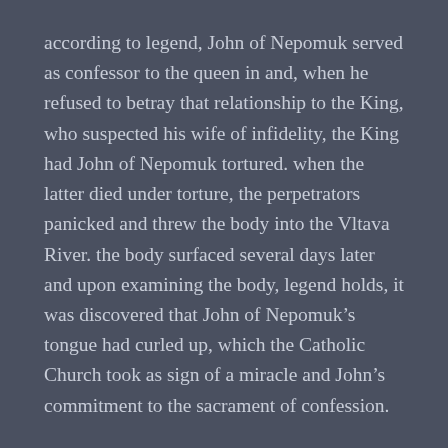according to legend, John of Nepomuk served as confessor to the queen in and, when he refused to betray that relationship to the King, who suspected his wife of infidelity, the King had John of Nepomuk tortured. when the latter died under torture, the perpetrators panicked and threw the body into the Vltava River. the body surfaced several days later and upon examining the body, legend holds, it was discovered that John of Nepomuk’s tongue had curled up, which the Catholic Church took as sign of a miracle and John’s commitment to the sacrament of confession.
the real story of John of Nepomuk and his